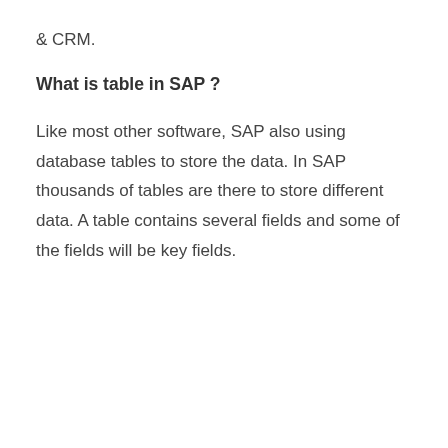& CRM.
What is table in SAP ?
Like most other software, SAP also using database tables to store the data. In SAP thousands of tables are there to store different data. A table contains several fields and some of the fields will be key fields.